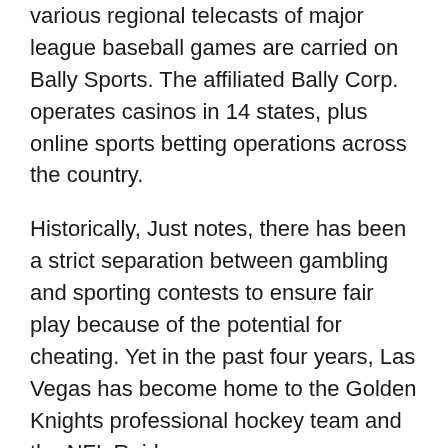various regional telecasts of major league baseball games are carried on Bally Sports. The affiliated Bally Corp. operates casinos in 14 states, plus online sports betting operations across the country.
Historically, Just notes, there has been a strict separation between gambling and sporting contests to ensure fair play because of the potential for cheating. Yet in the past four years, Las Vegas has become home to the Golden Knights professional hockey team and the NFL Raiders.
RECRUITING ADDICTS
Bernal, 52, says the advertising blitz is an attempt by gambling companies to lure youth into lifelong habits of betting on the outcome of games. He says there is an epidemic of children